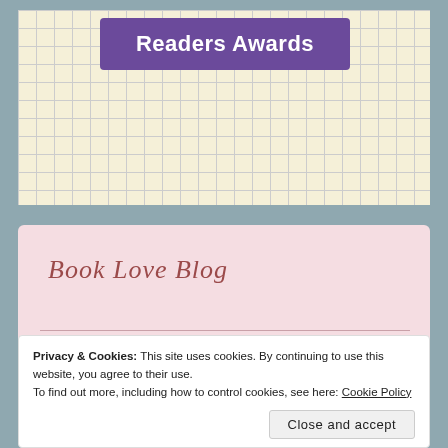Readers Awards
Book Love Blog
Australian Paranormal Fantasy (4)
The Gods of Oakleigh (2)
Australian Rural Romance (85)
Privacy & Cookies: This site uses cookies. By continuing to use this website, you agree to their use.
To find out more, including how to control cookies, see here: Cookie Policy
Close and accept